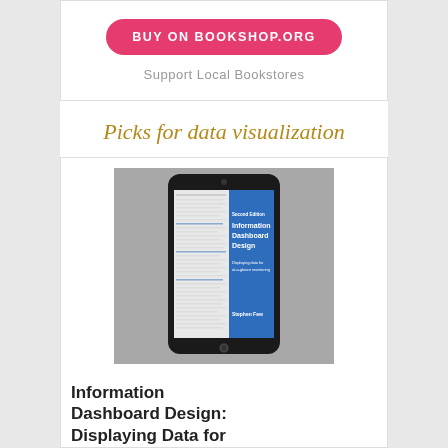[Figure (other): BUY ON BOOKSHOP.ORG button (pink/red rounded rectangle) with 'Support Local Bookstores' text below, inside a bordered white box]
Picks for data visualization
[Figure (photo): Book cover of 'Information Dashboard Design' by Stephen Few, Second Edition. Gray background with a smartphone showing a dashboard, blue stripe with white text 'Information Dashboard Design, Displaying data for at-a-glance monitoring', and author name 'Stephen Few' at the bottom.]
Information Dashboard Design: Displaying Data for